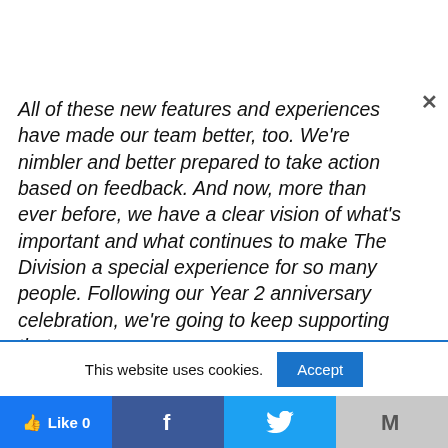All of these new features and experiences have made our team better, too. We're nimbler and better prepared to take action based on feedback. And now, more than ever before, we have a clear vision of what's important and what continues to make The Division a special experience for so many people. Following our Year 2 anniversary celebration, we're going to keep supporting that
This website uses cookies.
[Figure (screenshot): Social sharing bar with Like, Facebook, Twitter, and Mail buttons]